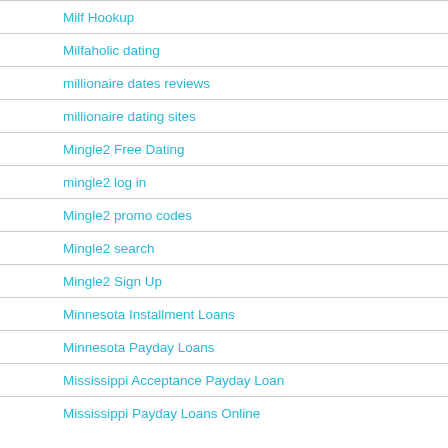Milf Hookup
Milfaholic dating
millionaire dates reviews
millionaire dating sites
Mingle2 Free Dating
mingle2 log in
Mingle2 promo codes
Mingle2 search
Mingle2 Sign Up
Minnesota Installment Loans
Minnesota Payday Loans
Mississippi Acceptance Payday Loan
Mississippi Payday Loans Online